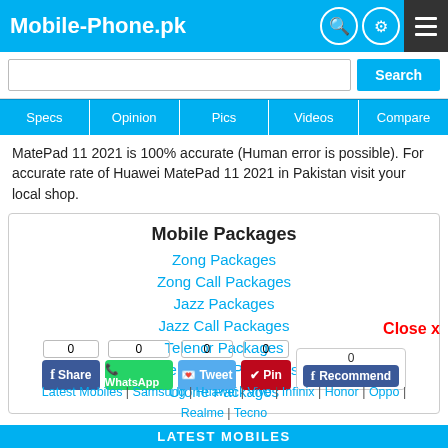Mobile-Phone.pk
MatePad 11 2021 is 100% accurate (Human error is possible). For accurate rate of Huawei MatePad 11 2021 in Pakistan visit your local shop.
Mobile Packages
Zong Packages
Zong Call Packages
Jazz Packages
Jazz Call Packages
Telenor Packages
Telenor Call Packages
Ufone Packages
Close x
0 Share | 0 WhatsApp | 0 Tweet | 0 Pin | 0 Recommend
Latest Mobiles | Samsung | Huawei | Vivo | Infinix | Honor | Oppo | Realme | Tecno
Latest Mobiles